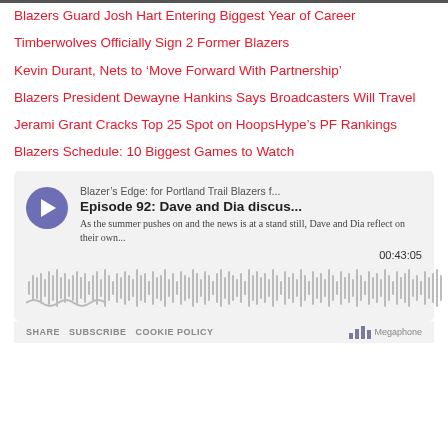Blazers Guard Josh Hart Entering Biggest Year of Career
Timberwolves Officially Sign 2 Former Blazers
Kevin Durant, Nets to ‘Move Forward With Partnership’
Blazers President Dewayne Hankins Says Broadcasters Will Travel
Jerami Grant Cracks Top 25 Spot on HoopsHype’s PF Rankings
Blazers Schedule: 10 Biggest Games to Watch
[Figure (screenshot): Podcast player embed for Blazer's Edge: Episode 92: Dave and Dia discus... with play button, waveform, and timestamp 00:43:05]
SHARE  SUBSCRIBE  COOKIE POLICY  Megaphone